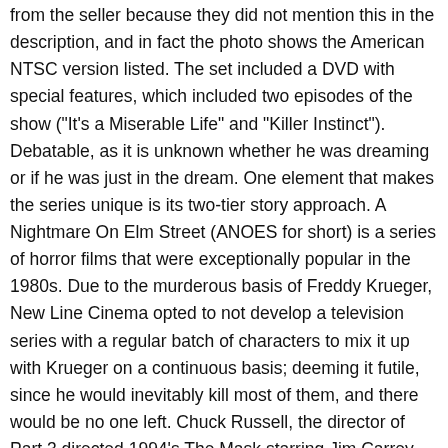from the seller because they did not mention this in the description, and in fact the photo shows the American NTSC version listed. The set included a DVD with special features, which included two episodes of the show ("It's a Miserable Life" and "Killer Instinct"). Debatable, as it is unknown whether he was dreaming or if he was just in the dream. One element that makes the series unique is its two-tier story approach. A Nightmare On Elm Street (ANOES for short) is a series of horror films that were exceptionally popular in the 1980s. Due to the murderous basis of Freddy Krueger, New Line Cinema opted to not develop a television series with a regular batch of characters to mix it up with Krueger on a continuous basis; deeming it futile, since he would inevitably kill most of them, and there would be no one left. Chuck Russell, the director of Part 3 directed 1994's The Mask starring Jim Carrey and 1996's Eraser with Arnold Schwarzenegger in the lead. Neil, unknowingly until the end, meets the spirit of Freddy's mother, who instructs him to bury